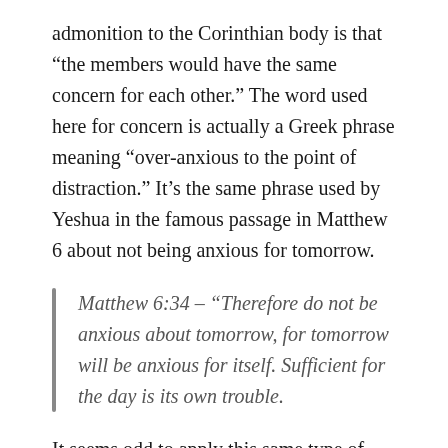admonition to the Corinthian body is that “the members would have the same concern for each other.” The word used here for concern is actually a Greek phrase meaning “over-anxious to the point of distraction.” It’s the same phrase used by Yeshua in the famous passage in Matthew 6 about not being anxious for tomorrow.
Matthew 6:34 – “Therefore do not be anxious about tomorrow, for tomorrow will be anxious for itself. Sufficient for the day is its own trouble.
It seems odd to apply this same type of anxiety to the care and concern believers should be